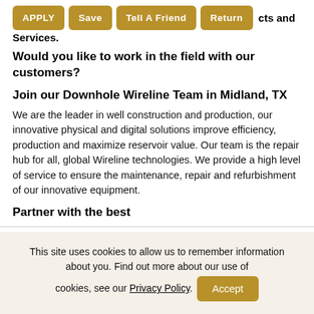products and services.
Would you like to work in the field with our customers?
Join our Downhole Wireline Team in Midland, TX
We are the leader in well construction and production, our innovative physical and digital solutions improve efficiency, production and maximize reservoir value. Our team is the repair hub for all, global Wireline technologies. We provide a high level of service to ensure the maintenance, repair and refurbishment of our innovative equipment.
Partner with the best
This site uses cookies to allow us to remember information about you. Find out more about our use of cookies, see our Privacy Policy.